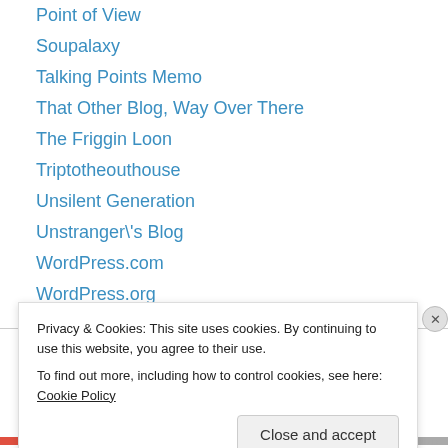Point of View
Soupalaxy
Talking Points Memo
That Other Blog, Way Over There
The Friggin Loon
Triptotheouthouse
Unsilent Generation
Unstranger\'s Blog
WordPress.com
WordPress.org
Kansas Blogs
Privacy & Cookies: This site uses cookies. By continuing to use this website, you agree to their use. To find out more, including how to control cookies, see here: Cookie Policy